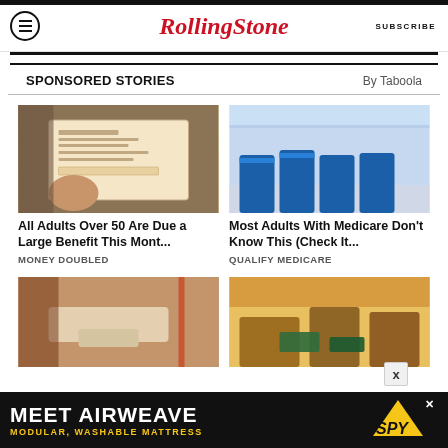RollingStone | SUBSCRIBE
SPONSORED STORIES  By Taboola
[Figure (photo): Hand holding a check/document]
All Adults Over 50 Are Due a Large Benefit This Mont...
MONEY DOUBLED
[Figure (photo): Walmart store interior with checkout lanes]
Most Adults With Medicare Don't Know This (Check It...
QUALIFY MEDICARE
[Figure (photo): Bandage on an arm]
[Figure (photo): Street scene with money/cars]
[Figure (advertisement): Meet Airweave - Modular, Washable Mattress - SPY ad banner]